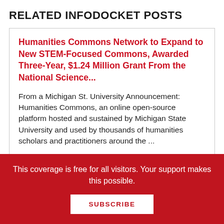RELATED INFODOCKET POSTS
Humanities Commons Network to Expand to New STEM-Focused Commons, Awarded Three-Year, $1.24 Million Grant From the National Science...
From a Michigan St. University Announcement: Humanities Commons, an online open-source platform hosted and sustained by Michigan State University and used by thousands of humanities scholars and practitioners around the ...
This coverage is free for all visitors. Your support makes this possible.
SUBSCRIBE